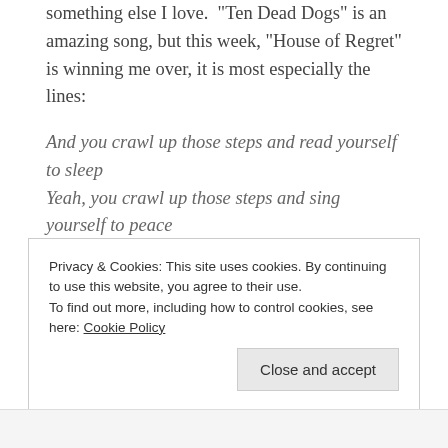something else I love.  "Ten Dead Dogs" is an amazing song, but this week, “House of Regret” is winning me over, it is most especially the lines:
And you crawl up those steps and read yourself to sleep Yeah, you crawl up those steps and sing yourself to peace
It’s raining.  I am certainly not going to complain about too much rain.  Especially after 18+ months of drought here.  But man, GLOOMY.  Also there is some sort of ice storm forecast, which means I may or may not get all my outside errands done.  Or that I should rush out and do them now, in case tomorrow really is full of weather
Privacy & Cookies: This site uses cookies. By continuing to use this website, you agree to their use.
To find out more, including how to control cookies, see here: Cookie Policy
Close and accept